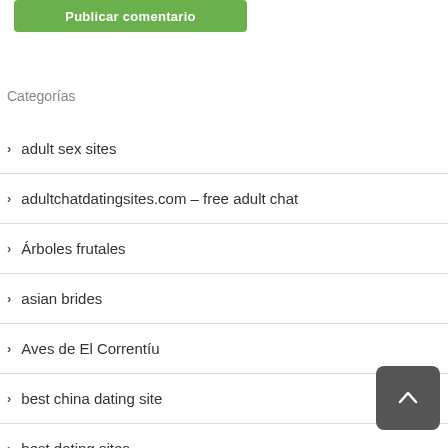[Figure (other): Green 'Publicar comentario' button at top]
Categorías
adult sex sites
adultchatdatingsites.com – free adult chat
Árboles frutales
asian brides
Aves de El Correntíu
best china dating site
best dating sites
Best Dating Website